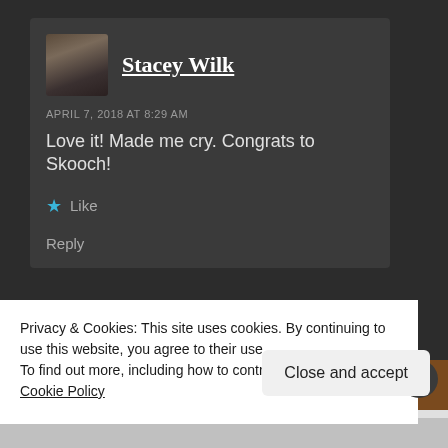[Figure (screenshot): User comment by Stacey Wilk with avatar photo]
APRIL 7, 2018 AT 8:29 AM
Love it! Made me cry. Congrats to Skooch!
Like
Reply
[Figure (screenshot): Partial user avatar for Kaitlan Cantwell]
Kaitlan Cantwell
Privacy & Cookies: This site uses cookies. By continuing to use this website, you agree to their use.
To find out more, including how to control cookies, see here: Cookie Policy
Close and accept